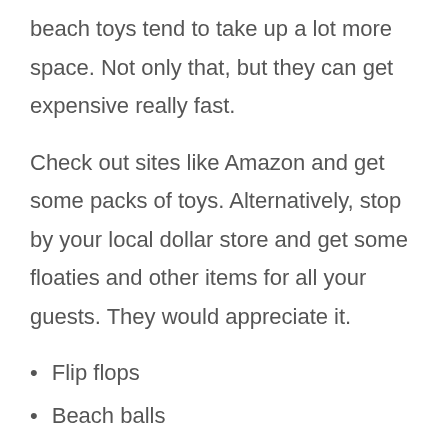beach toys tend to take up a lot more space. Not only that, but they can get expensive really fast.
Check out sites like Amazon and get some packs of toys. Alternatively, stop by your local dollar store and get some floaties and other items for all your guests. They would appreciate it.
Flip flops
Beach balls
Floaties